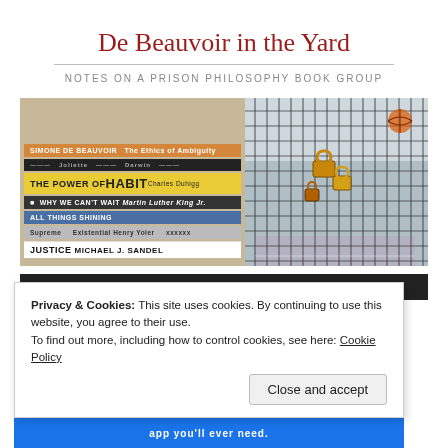De Beauvoir in the Yard
NOTES ON A PRISON PHILOSOPHY BOOK GROUP
[Figure (photo): Left panel: stack of books including The Ethics of Ambiguity (Simone de Beauvoir), The Power of Habit (Charles Duhigg), Why We Can't Wait (Martin Luther King Jr.), All Things Shining, and Justice (Michael J. Sandel). Right panel: close-up of a chain-link fence with padlocks, basketball court visible in background.]
Main menu
Privacy & Cookies: This site uses cookies. By continuing to use this website, you agree to their use.
To find out more, including how to control cookies, see here: Cookie Policy
Close and accept